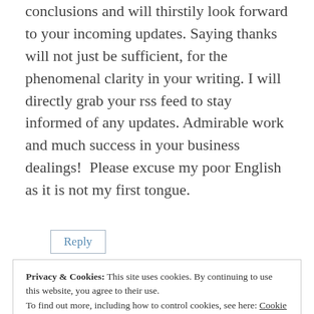conclusions and will thirstily look forward to your incoming updates. Saying thanks will not just be sufficient, for the phenomenal clarity in your writing. I will directly grab your rss feed to stay informed of any updates. Admirable work and much success in your business dealings!  Please excuse my poor English as it is not my first tongue.
Reply
Privacy & Cookies: This site uses cookies. By continuing to use this website, you agree to their use.
To find out more, including how to control cookies, see here: Cookie Policy
Close and accept
January 13, 2011 at 4:36 pm